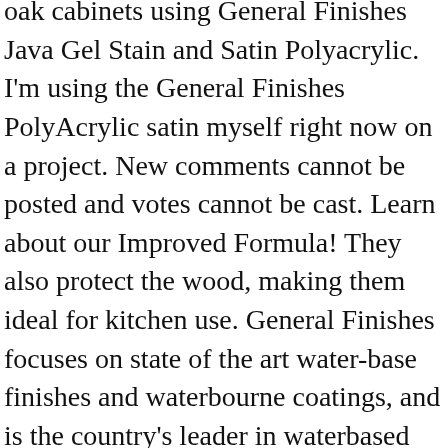oak cabinets using General Finishes Java Gel Stain and Satin Polyacrylic. I'm using the General Finishes PolyAcrylic satin myself right now on a project. New comments cannot be posted and votes cannot be cast. Learn about our Improved Formula! They also protect the wood, making them ideal for kitchen use. General Finishes focuses on state of the art water-base finishes and waterbourne coatings, and is the country's leader in waterbased finish technology offering wood stains, dye stains, top coats, gel stains, exterior wood finishes, liquid oilbase stains, water based lacquers furniture paint. Varathane 200241H Water-Based Ultimate Polyurethane, Quart, Satin Finish. Their Flat High-Performance Top Coat is a clear, flat, water-based topcoat and excels at making chalk painted or milk painted projects much more durable. Pint, Starting at I